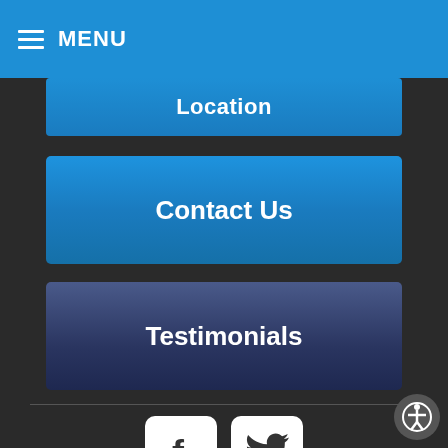MENU
Location
Contact Us
Testimonials
[Figure (other): Facebook and Twitter social media icon buttons]
Copyright © 2022 MH Sub I, LLC dba Officite.  |  Admin Log In
Site Map